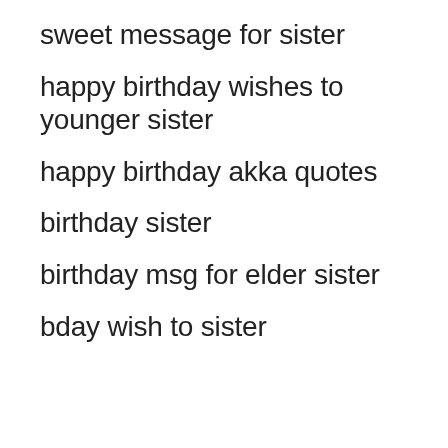sweet message for sister
happy birthday wishes to younger sister
happy birthday akka quotes
birthday sister
birthday msg for elder sister
bday wish to sister